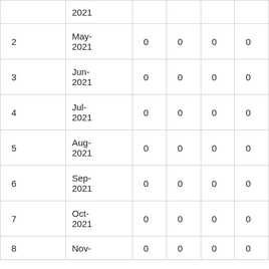|  | 2021 | 0 | 0 | 0 | 0 |
| 2 | May-2021 | 0 | 0 | 0 | 0 |
| 3 | Jun-2021 | 0 | 0 | 0 | 0 |
| 4 | Jul-2021 | 0 | 0 | 0 | 0 |
| 5 | Aug-2021 | 0 | 0 | 0 | 0 |
| 6 | Sep-2021 | 0 | 0 | 0 | 0 |
| 7 | Oct-2021 | 0 | 0 | 0 | 0 |
| 8 | Nov- | 0 | 0 | 0 | 0 |